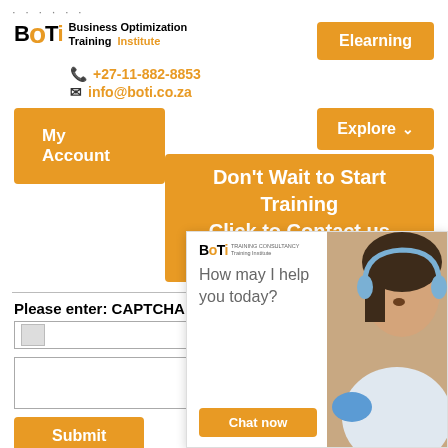[Figure (logo): BOTI - Business Optimization Training Institute logo with orange accents]
Elearning
+27-11-882-8853
info@boti.co.za
My Account
Explore
Don't Wait to Start Training Click to Contact us Today
Please enter: CAPTCHA
[Figure (screenshot): BOTI live chat popup with 'How may I help you today?' message and Chat now button, with customer service agent photo]
Submit